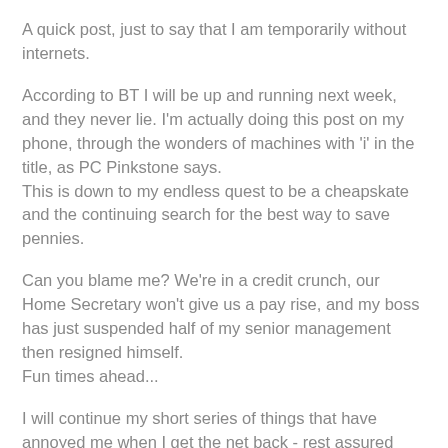A quick post, just to say that I am temporarily without internets.
According to BT I will be up and running next week, and they never lie. I'm actually doing this post on my phone, through the wonders of machines with 'i' in the title, as PC Pinkstone says.
This is down to my endless quest to be a cheapskate and the continuing search for the best way to save pennies.
Can you blame me? We're in a credit crunch, our Home Secretary won't give us a pay rise, and my boss has just suspended half of my senior management then resigned himself.
Fun times ahead...
I will continue my short series of things that have annoyed me when I get the net back - rest assured there is only one more to go; there are still things that make me laugh as well in this job.